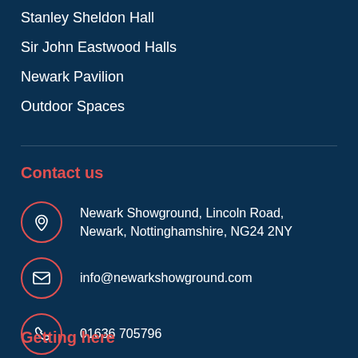Stanley Sheldon Hall
Sir John Eastwood Halls
Newark Pavilion
Outdoor Spaces
Contact us
Newark Showground, Lincoln Road, Newark, Nottinghamshire, NG24 2NY
info@newarkshowground.com
01636 705796
Getting here